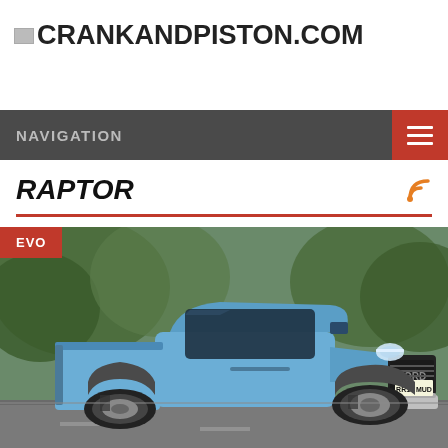CRANKANDPISTON.COM
NAVIGATION
RAPTOR
[Figure (photo): Blue Ford Ranger Raptor pickup truck driving on a road, front three-quarter view, trees in background, UK license plate RR19 MUD. Red 'EVO' badge overlay in top-left corner.]